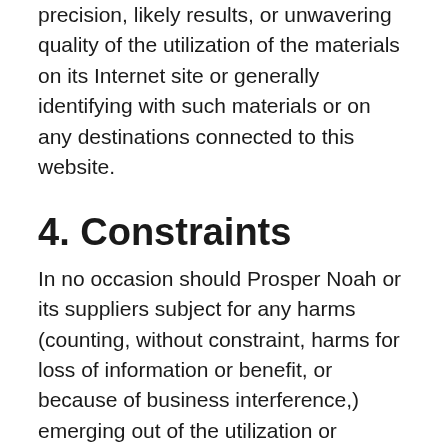precision, likely results, or unwavering quality of the utilization of the materials on its Internet site or generally identifying with such materials or on any destinations connected to this website.
4. Constraints
In no occasion should Prosper Noah or its suppliers subject for any harms (counting, without constraint, harms for loss of information or benefit, or because of business interference,) emerging out of the utilization or powerlessness to utilize the materials on Prosper Noah's Internet webpage, regardless of the possibility that Prosper Noah or a Prosper Noah approved